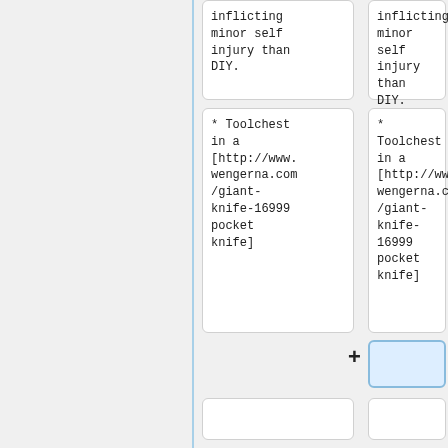inflicting minor self injury than DIY.
inflicting minor self injury than DIY.
* Toolchest in a [http://www.wengerna.com/giant-knife-16999 pocket knife]
* Toolchest in a [http://www.wengerna.com/giant-knife-16999 pocket knife]
+
==Craft knife, X-acto knife==
==Craft knife, X-acto knife==
[[image:Xacto 11horizont
[[image:Xacto 11horizont